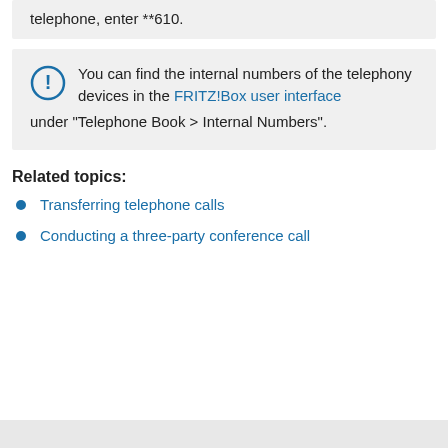telephone, enter **610.
You can find the internal numbers of the telephony devices in the FRITZ!Box user interface under "Telephone Book > Internal Numbers".
Related topics:
Transferring telephone calls
Conducting a three-party conference call